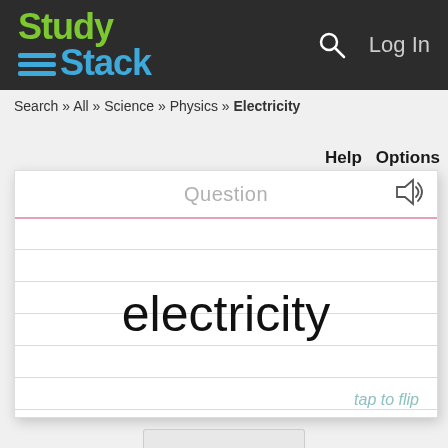StudyStack — Log In
Search » All » Science » Physics » Electricity
Help   Options
[Figure (screenshot): A flashcard UI showing the word 'electricity' on a lined notecard background with a 'Question' label at the top and 'tap to flip' at the bottom right.]